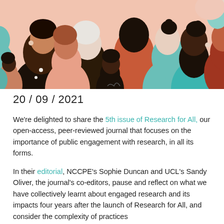[Figure (illustration): Flat illustrated crowd of diverse people of various skin tones and hair styles, depicted in profiles and three-quarter views, using muted coral, teal, terracotta, peach, and dark brown colors.]
20 / 09 / 2021
We're delighted to share the 5th issue of Research for All, our open-access, peer-reviewed journal that focuses on the importance of public engagement with research, in all its forms.
In their editorial, NCCPE's Sophie Duncan and UCL's Sandy Oliver, the journal's co-editors, pause and reflect on what we have collectively learnt about engaged research and its impacts four years after the launch of Research for All, and consider the complexity of practices